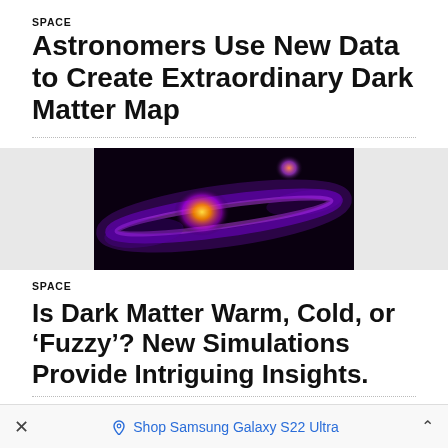SPACE
Astronomers Use New Data to Create Extraordinary Dark Matter Map
[Figure (photo): False-color image of dark matter distribution showing glowing purple and orange filamentary structures against a black background]
SPACE
Is Dark Matter Warm, Cold, or ‘Fuzzy’? New Simulations Provide Intriguing Insights.
[Figure (photo): Spiral galaxy illustration with bright central core and surrounding star field on dark background]
Shop Samsung Galaxy S22 Ultra